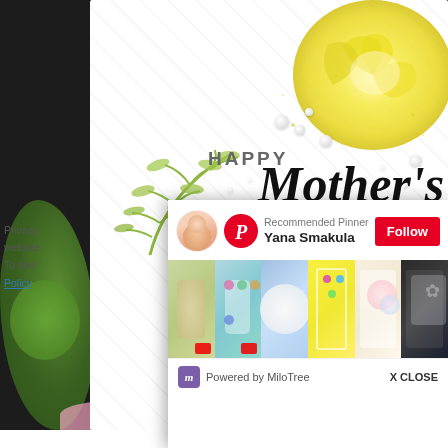[Figure (photo): Handmade Mother's Day card with yellow and pink roses, green fern leaves, pearl embellishments, and gold sequin. Text reads 'HAPPY Mother's' on white card stock. Dark background with green flowers visible at edges.]
Privacy
website
To find
Policy
[Figure (screenshot): Pinterest Recommended Pinner popup overlay showing Yana Smakula with Pinterest logo, Follow button in red, thumbnail grid of craft card photos, and Powered by MiloTree footer with X CLOSE button.]
Recommended Pinner
Yana Smakula
Follow
Powered by MiloTree
X CLOSE